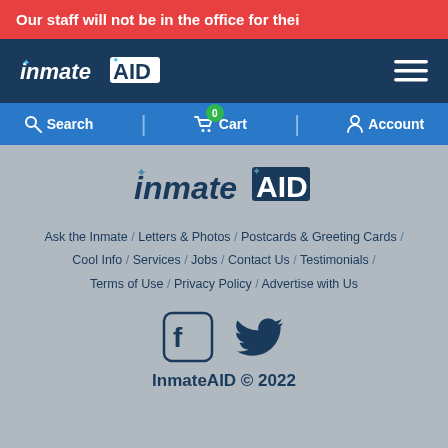Our staff will not be in the office for thei
[Figure (logo): InmateAID logo in white on dark navy background with hamburger menu icon]
Search | 0 Cart | Account
[Figure (logo): InmateAID logo centered on gray background]
Ask the Inmate / Letters & Photos / Postcards & Greeting Cards /
Cool Info / Services / Jobs / Contact Us / Testimonials /
Terms of Use / Privacy Policy / Advertise with Us
[Figure (illustration): Facebook and Twitter social media icons]
InmateAID © 2022